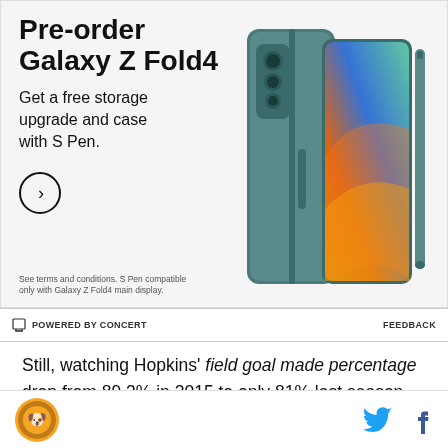[Figure (photo): Samsung Galaxy Z Fold4 advertisement. Shows a teal/slate blue phone case with S Pen on right side. Ad text on left reads 'Pre-order Galaxy Z Fold4' and 'Get a free storage upgrade and case with S Pen.' with a circle arrow button and small disclaimer text.]
POWERED BY CONCERT    FEEDBACK
Still, watching Hopkins' field goal made percentage drop from 89.3% in 2015 to only 81% last season was tough on fans. In addition, some high-profile misses, such as his 2-out-of-4 performance against the
[Figure (logo): Circular sports team logo with orange/gold color scheme on left, and Twitter bird icon and Facebook 'f' icon on the right.]